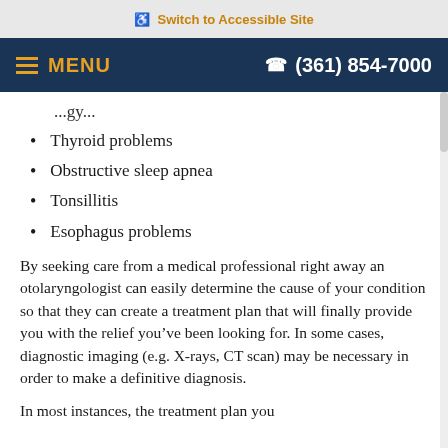Switch to Accessible Site
MENU  (361) 854-7000
Thyroid problems
Obstructive sleep apnea
Tonsillitis
Esophagus problems
By seeking care from a medical professional right away an otolaryngologist can easily determine the cause of your condition so that they can create a treatment plan that will finally provide you with the relief you’ve been looking for. In some cases, diagnostic imaging (e.g. X-rays, CT scan) may be necessary in order to make a definitive diagnosis.
In most instances, the treatment plan you